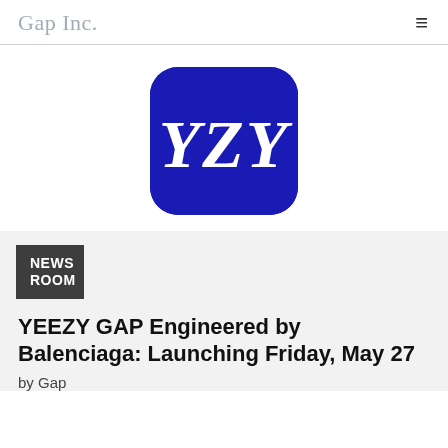Gap Inc.
[Figure (logo): YZY logo: white serif italic letters 'YZY' on a dark blue rounded square background, resembling the Gap logo style]
[Figure (logo): NEWS ROOM badge: white bold uppercase text on dark gray/charcoal square background]
YEEZY GAP Engineered by Balenciaga: Launching Friday, May 27
by Gap